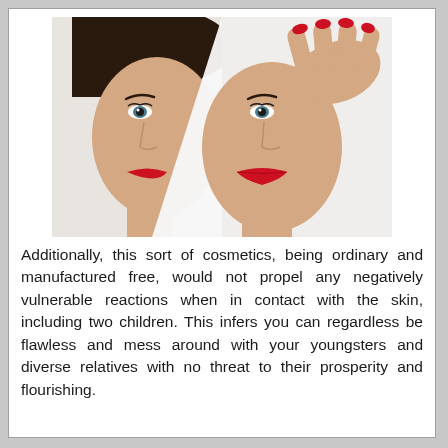[Figure (photo): A fashion/beauty photo of a woman's face with bold red lips and dark hair, holding a white paper or card partially covering her face, with red-painted fingernails visible. The image has a clean white background and stylized split composition.]
Additionally, this sort of cosmetics, being ordinary and manufactured free, would not propel any negatively vulnerable reactions when in contact with the skin, including two children. This infers you can regardless be flawless and mess around with your youngsters and diverse relatives with no threat to their prosperity and flourishing.